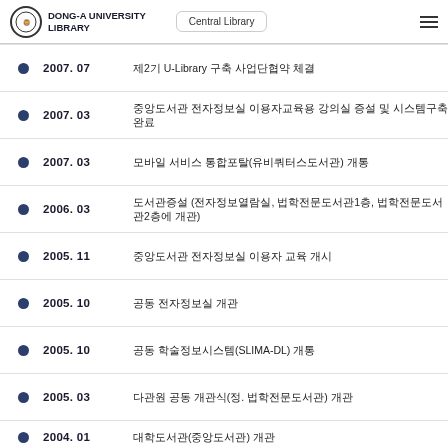DONG-A UNIVERSITY LIBRARY | Central Library
2007. 07 — 제2기 U-Library 구축 사업단협약 체결
2007. 03 — 중앙도서관 전자정보실 이용자교육용 강의실 증설 및 시스템구축완료
2007. 03 — 모바일 서비스 통합포탈(유비쿼터스도서관) 개통
2006. 03 — 도서관증설 (전자정보열람실, 법학전문도서관1층, 법학전문도서관2층에 개관)
2005. 11 — 중앙도서관 전자정보실 이용자 교육 개시
2005. 10 — 공동 전자정보실 개관
2005. 10 — 공동 학술정보시스템(SLIMA-DL) 개통
2005. 03 — 다관원 공동 개관식(정. 법학전문도서관) 개관
2004. 01 — (partial)